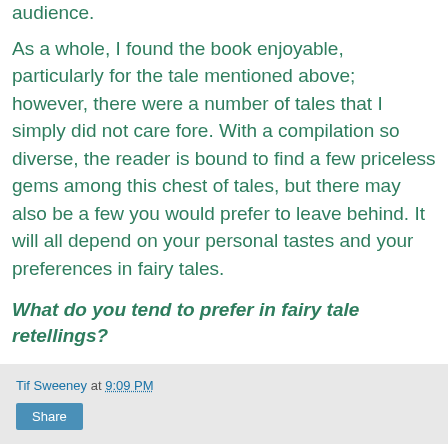audience.
As a whole, I found the book enjoyable, particularly for the tale mentioned above; however, there were a number of tales that I simply did not care fore.  With a compilation so diverse, the reader is bound to find a few priceless gems among this chest of tales, but there may also be a few you would prefer to leave behind.  It will all depend on your personal tastes and your preferences in fairy tales.
What do you tend to prefer in fairy tale retellings?
Tif Sweeney at 9:09 PM
Share
No comments:
Post a Comment
Thank you in advance for your comments! I love to hear reader's thoughts and respond to each